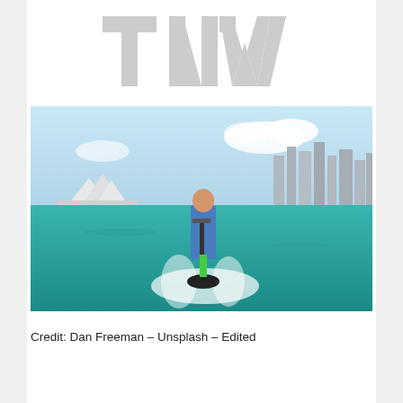[Figure (logo): TNW (The Next Web) logo in light gray, large bold stylized letters]
[Figure (photo): A man riding a scooter on water in Sydney Harbour with the Sydney Opera House and city skyline in the background. The image is a composite/edited photo showing the man standing on a motorized scooter with water splashing around him.]
Credit: Dan Freeman – Unsplash – Edited